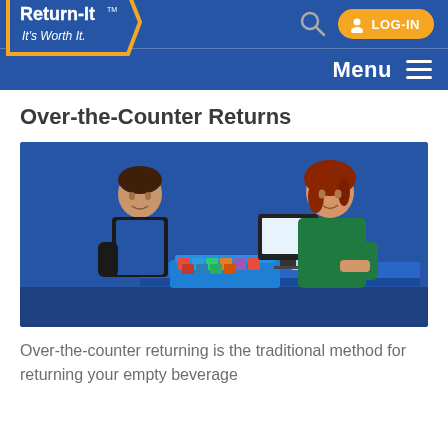Return-It — It's Worth It. | LOG-IN | Menu
Over-the-Counter Returns
[Figure (photo): A Return-It store employee in a blue apron behind a counter talks with a female customer in a green sweater. Between them is a blue bin filled with cans and various recyclable beverage containers on a counter, with a computer monitor visible.]
Over-the-counter returning is the traditional method for returning your empty beverage